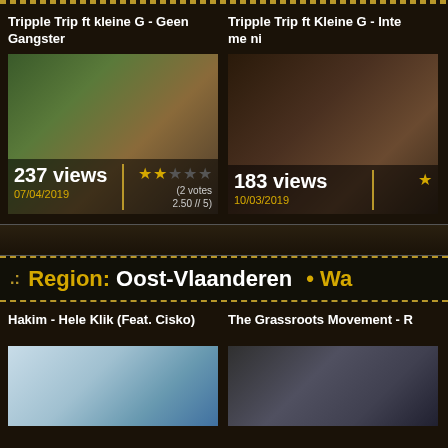Tripple Trip ft kleine G - Geen Gangster
[Figure (screenshot): Video thumbnail for Tripple Trip ft kleine G - Geen Gangster. Shows 237 views, rated 2.50 out of 5 (2 votes), dated 07/04/2019.]
Tripple Trip ft Kleine G - Inte me ni
[Figure (screenshot): Video thumbnail for Tripple Trip ft Kleine G - Inte me ni. Shows 183 views, dated 10/03/2019.]
.: Region: Oost-Vlaanderen • Wa
Hakim - Hele Klik (Feat. Cisko)
[Figure (screenshot): Video thumbnail for Hakim - Hele Klik (Feat. Cisko). Partial view of thumbnail.]
The Grassroots Movement - R
[Figure (screenshot): Video thumbnail for The Grassroots Movement. Partial view of thumbnail.]